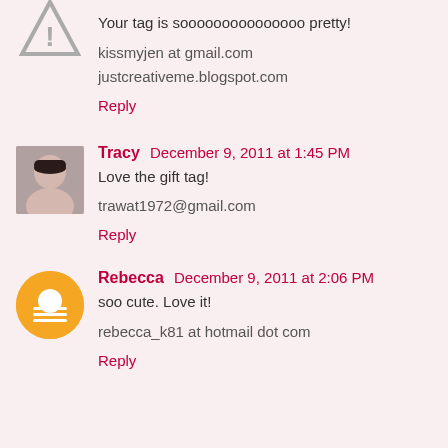Your tag is sooooooooooooooo pretty!
kissmyjen at gmail.com
justcreativeme.blogspot.com
Reply
Tracy  December 9, 2011 at 1:45 PM
Love the gift tag!
trawat1972@gmail.com
Reply
Rebecca  December 9, 2011 at 2:06 PM
soo cute. Love it!
rebecca_k81 at hotmail dot com
Reply